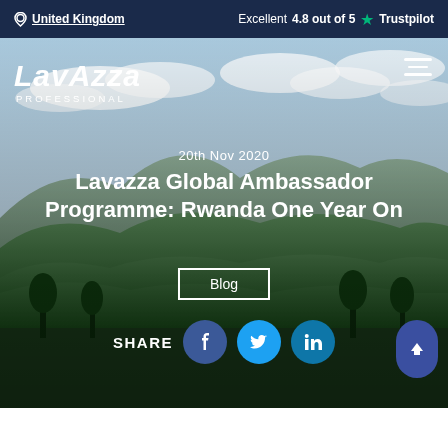United Kingdom | Excellent 4.8 out of 5 ★ Trustpilot
[Figure (logo): Lavazza Professional logo in white]
20th Nov 2020
Lavazza Global Ambassador Programme: Rwanda One Year On
Blog
SHARE
[Figure (infographic): Social share buttons: Facebook, Twitter, LinkedIn]
[Figure (photo): Hero landscape photo showing green mountain hills under a partly cloudy sky, likely Rwanda]